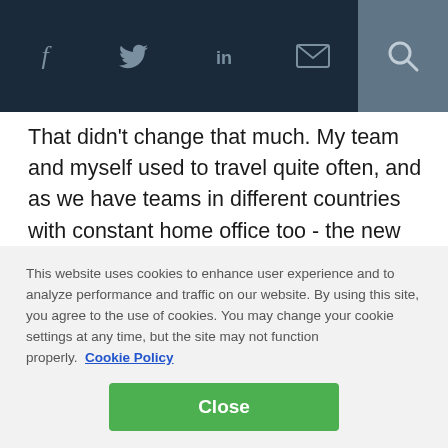[Social share icons: Facebook, Twitter, LinkedIn, Email, Search]
That didn't change that much. My team and myself used to travel quite often, and as we have teams in different countries with constant home office too - the new work dynamics aren't so new to us. Rappi will continue with remote work until next year, and overall performance has been amazing.
But too much digital and remote makes you lose some
This website uses cookies to enhance user experience and to analyze performance and traffic on our website. By using this site, you agree to the use of cookies. You may change your cookie settings at any time, but the site may not function properly.  Cookie Policy
Close